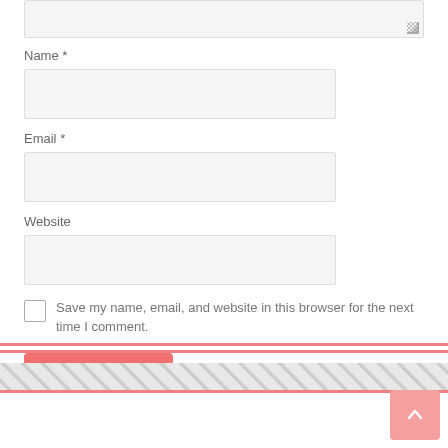[Figure (screenshot): Web comment form with Name, Email, Website fields, a save checkbox, a Post Comment button, a pink divider, a hatched footer strip, and a back-to-top button]
Name *
Email *
Website
Save my name, email, and website in this browser for the next time I comment.
Post Comment